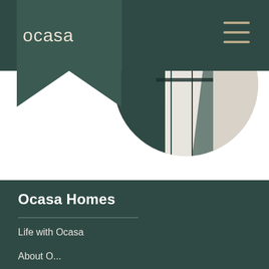ocasa
[Figure (photo): Circular cropped architectural/interior photo showing dark teal walls and light cream/white elements, partially visible above the fold]
Ocasa Homes
Life with Ocasa
About O...